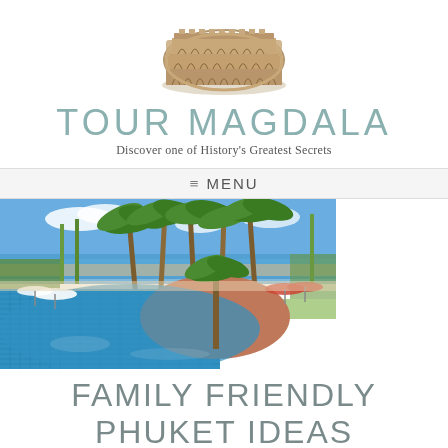[Figure (logo): Tour Magdala logo with Colosseum illustration and text 'TOUR MAGDALA' and subtitle 'Discover one of History's Greatest Secrets']
≡ MENU
[Figure (photo): Tropical resort pool with palm trees, beach umbrellas, blue tiled pool, and ocean/beach in the background]
FAMILY FRIENDLY PHUKET IDEAS